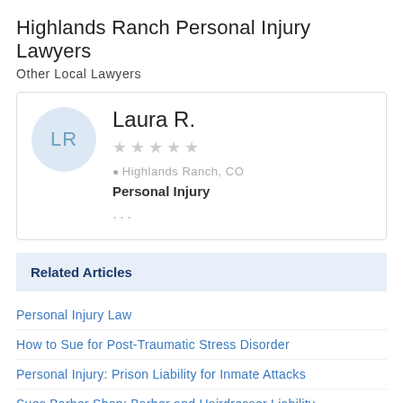Highlands Ranch Personal Injury Lawyers
Other Local Lawyers
LR
Laura R.
★★★★★
Highlands Ranch, CO
Personal Injury
···
Related Articles
Personal Injury Law
How to Sue for Post-Traumatic Stress Disorder
Personal Injury: Prison Liability for Inmate Attacks
Sues Barber Shop: Barber and Hairdresser Liability